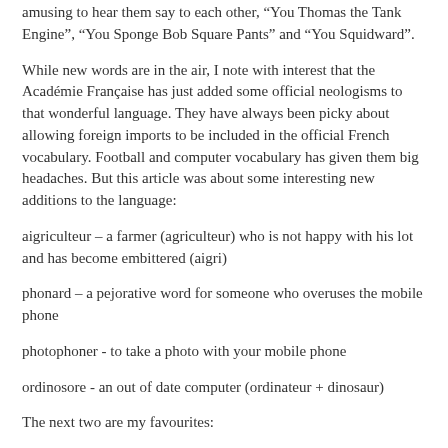amusing to hear them say to each other, “You Thomas the Tank Engine”, “You Sponge Bob Square Pants” and “You Squidward”.
While new words are in the air, I note with interest that the Académie Française has just added some official neologisms to that wonderful language. They have always been picky about allowing foreign imports to be included in the official French vocabulary. Football and computer vocabulary has given them big headaches. But this article was about some interesting new additions to the language:
aigriculteur – a farmer (agriculteur) who is not happy with his lot and has become embittered (aigri)
phonard – a pejorative word for someone who overuses the mobile phone
photophoner - to take a photo with your mobile phone
ordinosore - an out of date computer (ordinateur + dinosaur)
The next two are my favourites: